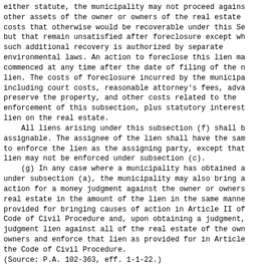either statute, the municipality may not proceed agains other assets of the owner or owners of the real estate costs that otherwise would be recoverable under this Se but that remain unsatisfied after foreclosure except wh such additional recovery is authorized by separate environmental laws. An action to foreclose this lien ma commenced at any time after the date of filing of the n lien. The costs of foreclosure incurred by the municipa including court costs, reasonable attorney's fees, adva preserve the property, and other costs related to the enforcement of this subsection, plus statutory interest lien on the real estate.
All liens arising under this subsection (f) shall b assignable. The assignee of the lien shall have the sam to enforce the lien as the assigning party, except that lien may not be enforced under subsection (c).
(g) In any case where a municipality has obtained a under subsection (a), the municipality may also bring a action for a money judgment against the owner or owners real estate in the amount of the lien in the same manne provided for bringing causes of action in Article II of Code of Civil Procedure and, upon obtaining a judgment, judgment lien against all of the real estate of the own owners and enforce that lien as provided for in Article the Code of Civil Procedure.
(Source: P.A. 102-363, eff. 1-1-22.)
Section 99. Effective date. This Act takes effect u becoming law.